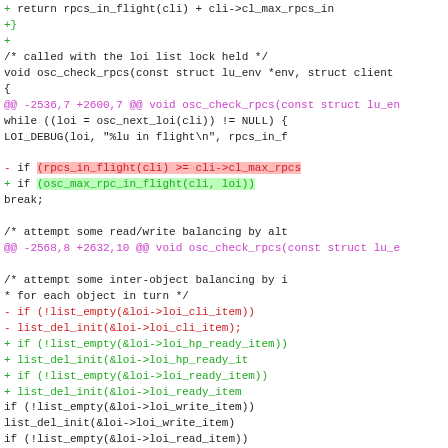[Figure (screenshot): A code diff (patch) view showing changes to C source code involving osc_check_rpcs and osc_set_async_flags_base functions, with additions in green and deletions in red on a white background.]